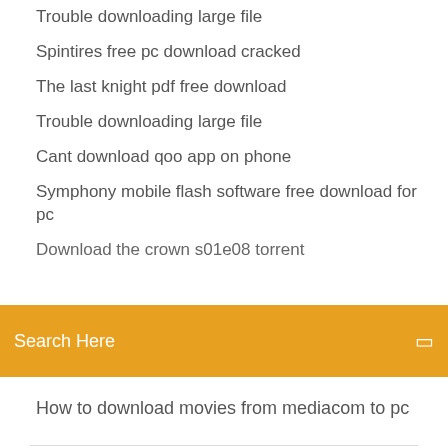Trouble downloading large file
Spintires free pc download cracked
The last knight pdf free download
Trouble downloading large file
Cant download qoo app on phone
Symphony mobile flash software free download for pc
Download the crown s01e08 torrent
Search Here
How to download movies from mediacom to pc
Nguồn Dell T410 T3400 T3500 390 380 525W Power Supply
NOTE: Add in card location and priority: PCIe x16: GFX, USB 3.0, Parallel/Serial, NIC, Wireless; PCIe